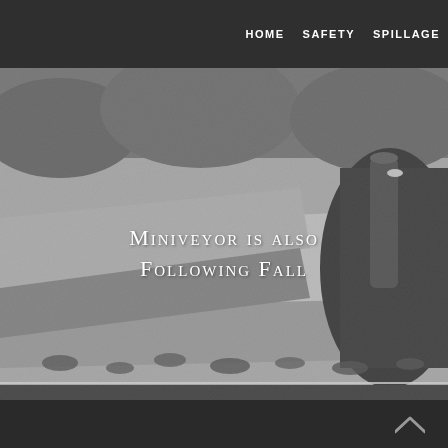HOME   SAFETY   SPILLAGE
[Figure (photo): Black and white photograph of industrial machinery (Miniveyor conveyor equipment) showing a conveyor belt with fallen leaves/debris, shot at night or low light. Heavy equipment and cylindrical exhaust/pipe visible in background.]
Miniveyor is also following fall